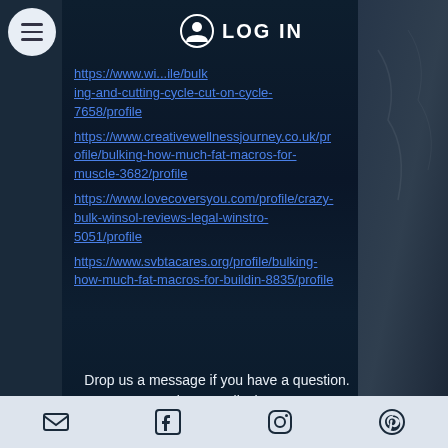LOG IN
https://www.wi...ile/bulking-and-cutting-cycle-cut-on-cycle-7658/profile
https://www.creativewellnessjourney.co.uk/profile/bulking-how-much-fat-macros-for-muscle-3682/profile
https://www.lovecoversyou.com/profile/crazy-bulk-winsol-reviews-legal-winstro-5051/profile
https://www.svbtacares.org/profile/bulking-how-much-fat-macros-for-buildin-8835/profile
Drop us a message if you have a question. We love to talk shop!
Name *
Email | Facebook | Instagram | Pinterest